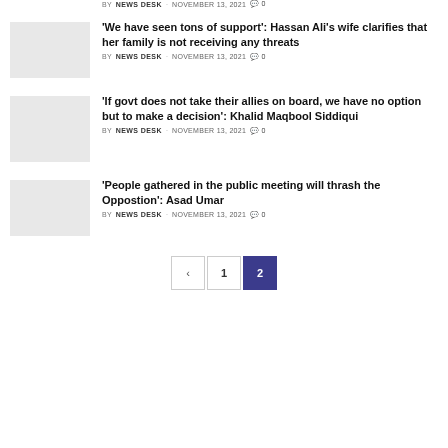BY NEWS DESK  NOVEMBER 13, 2021  0
'We have seen tons of support': Hassan Ali's wife clarifies that her family is not receiving any threats
BY NEWS DESK  NOVEMBER 13, 2021  0
'If govt does not take their allies on board, we have no option but to make a decision': Khalid Maqbool Siddiqui
BY NEWS DESK  NOVEMBER 13, 2021  0
'People gathered in the public meeting will thrash the Oppostion': Asad Umar
BY NEWS DESK  NOVEMBER 13, 2021  0
< 1 2